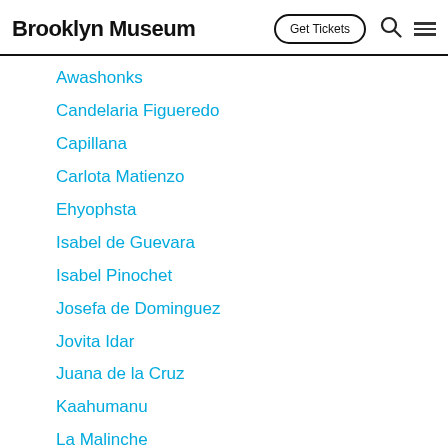Brooklyn Museum | Get Tickets
Awashonks
Candelaria Figueredo
Capillana
Carlota Matienzo
Ehyophsta
Isabel de Guevara
Isabel Pinochet
Josefa de Dominguez
Jovita Idar
Juana de la Cruz
Kaahumanu
La Malinche
Laura Torres
Luisa Moreno
Magda Portal
Maria Bartola
Maria del Refugio Garcia